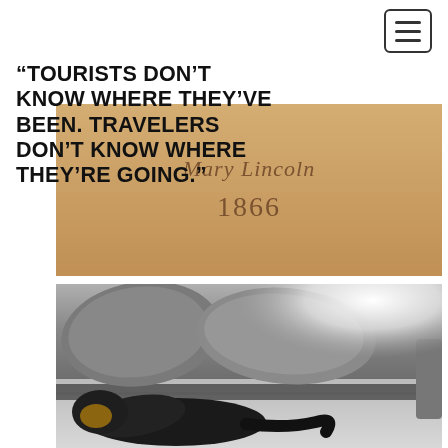[Figure (screenshot): Hamburger menu button (three horizontal lines) in top-right corner of a webpage navigation bar]
"TOURISTS DON'T KNOW WHERE THEY'VE BEEN. TRAVELERS DON'T KNOW WHERE THEY'RE GOING."
[Figure (photo): Photo of a wall with text reading 'Mary Lincoln 1866' in italic serif font on a tan/beige painted wall]
[Figure (photo): Photo of a dog sleeping curled up under a couch or bed, on a patterned grey blanket/bedspread, with bright light coming from the upper right]